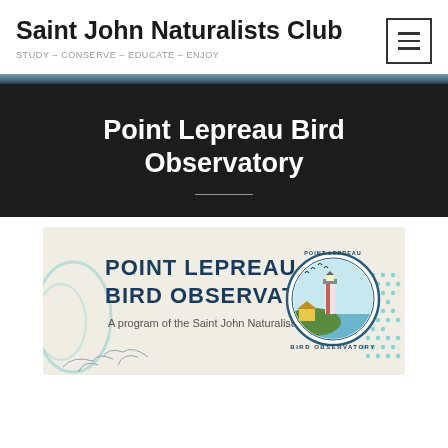Saint John Naturalists Club
STUDY – CONSERVE – EDUCATE – ENJOY
Point Lepreau Bird Observatory
[Figure (logo): Point Lepreau Bird Observatory logo banner. Text reads 'POINT LEPREAU BIRD OBSERVATORY — A program of the Saint John Naturalists Club' with a circular emblem featuring a lighthouse, birds in flight, a small building, and water scene.]